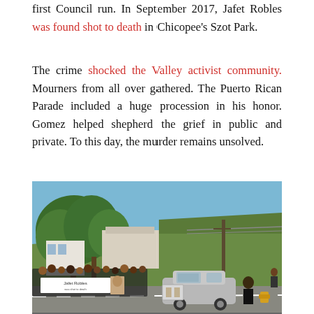first Council run. In September 2017, Jafet Robles was found shot to death in Chicopee's Szot Park.
The crime shocked the Valley activist community. Mourners from all over gathered. The Puerto Rican Parade included a huge procession in his honor. Gomez helped shepherd the grief in public and private. To this day, the murder remains unsolved.
[Figure (photo): Outdoor parade scene on a road. A crowd of people holds a banner reading 'Jafet Robles' on the left side. A silver Mercedes-Benz car drives in the foreground with what appears to be a display attached to its front. Trees, a grassy hill, and buildings are visible in the background under a blue sky.]